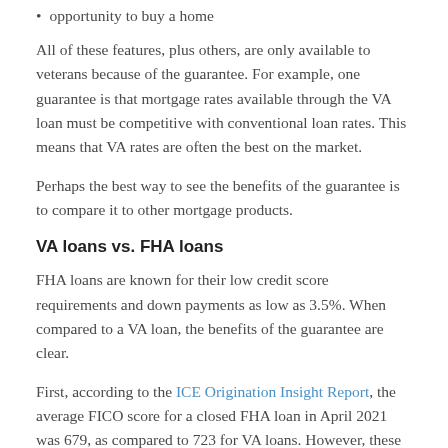opportunity to buy a home
All of these features, plus others, are only available to veterans because of the guarantee. For example, one guarantee is that mortgage rates available through the VA loan must be competitive with conventional loan rates. This means that VA rates are often the best on the market.
Perhaps the best way to see the benefits of the guarantee is to compare it to other mortgage products.
VA loans vs. FHA loans
FHA loans are known for their low credit score requirements and down payments as low as 3.5%. When compared to a VA loan, the benefits of the guarantee are clear.
First, according to the ICE Origination Insight Report, the average FICO score for a closed FHA loan in April 2021 was 679, as compared to 723 for VA loans. However, these are averages; FHA loans have a minimum required FICO score